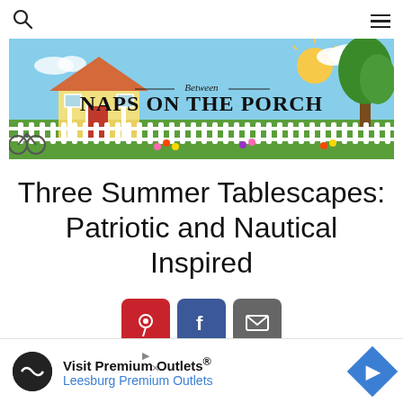Search / Menu navigation bar
[Figure (illustration): Between Naps on the Porch banner illustration showing a yellow house with a porch, a bicycle, a white picket fence, green lawn, trees, flowers, and a bright sky with sun and clouds. Text reads: Between Naps on the Porch.]
Three Summer Tablescapes: Patriotic and Nautical Inspired
[Figure (infographic): Three social share buttons: Pinterest (red square with P icon), Facebook (dark blue square with f icon), Email (gray square with envelope icon)]
Welcome to the 245th Tablescape Thursday!
[Figure (infographic): Advertisement bar: Visit Premium Outlets® — Leesburg Premium Outlets, with circular logo and blue diamond arrow icon]